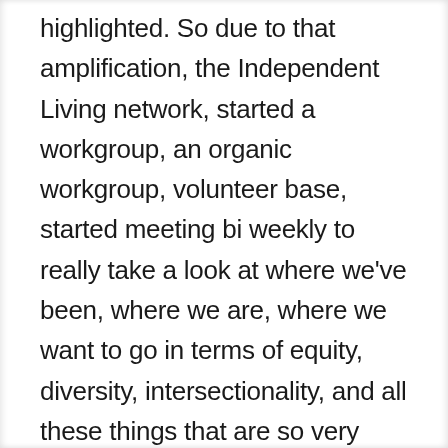highlighted. So due to that amplification, the Independent Living network, started a workgroup, an organic workgroup, volunteer base, started meeting bi weekly to really take a look at where we've been, where we are, where we want to go in terms of equity, diversity, intersectionality, and all these things that are so very important. And we need to take action about not just give lip service to and we've been meeting, you know, since basically end of June, July, and having conversations and you've shown up in these conversations, and have just dropped pearls of wisdom that has really helped to guide our efforts in this workgroup and the lens that